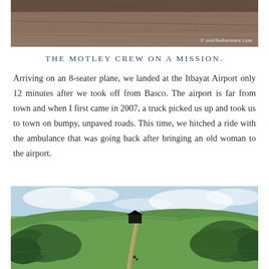[Figure (photo): Aerial or elevated view of a barren, dry terrain with linear patterns/furrows across the land surface. Watermark: © zeal4adventure.com]
THE MOTLEY CREW ON A MISSION.
Arriving on an 8-seater plane, we landed at the Itbayat Airport only 12 minutes after we took off from Basco.  The airport is far from town and when I first came in 2007, a truck picked us up and took us to town on bumpy, unpaved roads.  This time, we hitched a ride with the ambulance that was going back after bringing an old woman to the airport.
[Figure (photo): Scenic landscape photo showing a dirt path/road leading up a green hill with lush trees on both sides, a small dark structure on top of the hill, and a partly cloudy sky in the background.]